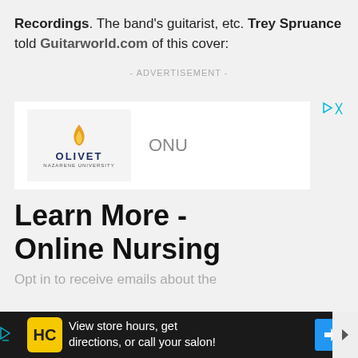Recordings. The band's guitarist, etc. Trey Spruance told Guitarworld.com of this cover:
- ADVERTISEMENT -
[Figure (logo): Olivet Nazarene University logo with ONU text advertisement for Online Nursing program. Contains flame logo, OLIVET NAZARENE UNIVERSITY text, ONU label, Learn More - Online Nursing heading, and Opt in to receive emails about the subtext.]
[Figure (other): Bottom advertisement bar: HC logo (Hair Club), text 'View store hours, get directions, or call your salon!' with blue directional arrow icon.]